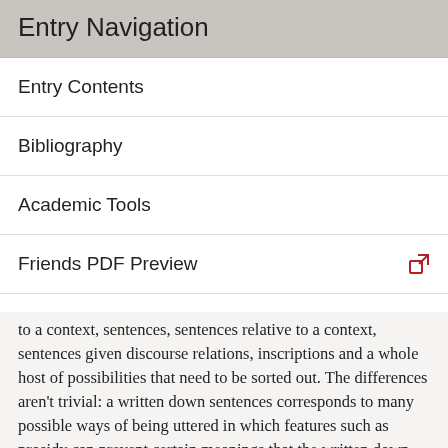Entry Navigation
Entry Contents
Bibliography
Academic Tools
Friends PDF Preview
Author and Citation Info
to a context, sentences, sentences relative to a context, sentences given discourse relations, inscriptions and a whole host of possibilities that need to be sorted out. The differences aren't trivial: a written down sentences corresponds to many possible ways of being uttered in which features such as prosidy can prevent certain meanings that the written down sentences seems capable of enjoying. Two utterances may sound the same (if they contain words that sound alike) without being spelt alike (if the words aren't co-spelled) thus resulting in phonological ambiguity without corresponding ambiguity